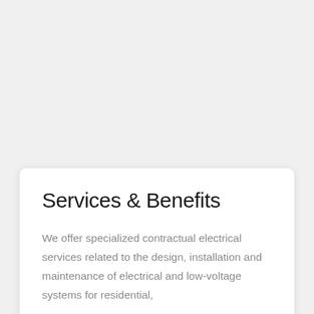Services & Benefits
We offer specialized contractual electrical services related to the design, installation and maintenance of electrical and low-voltage systems for residential,